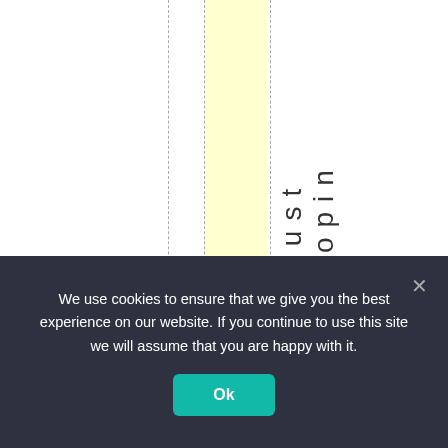s o n a l o p i n i o n i s j u s t
We use cookies to ensure that we give you the best experience on our website. If you continue to use this site we will assume that you are happy with it.